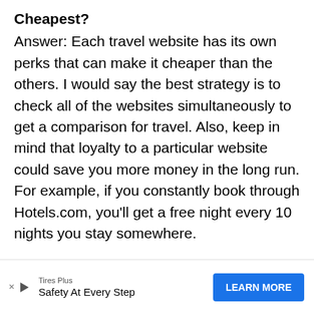Cheapest?
Answer: Each travel website has its own perks that can make it cheaper than the others. I would say the best strategy is to check all of the websites simultaneously to get a comparison for travel. Also, keep in mind that loyalty to a particular website could save you more money in the long run. For example, if you constantly book through Hotels.com, you'll get a free night every 10 nights you stay somewhere.
Question: Is it Cheaper to Book Flights with a Travel Agent or at Home?
Answ... flights...
[Figure (other): Advertisement banner: Tires Plus — Safety At Every Step, with a blue LEARN MORE button]